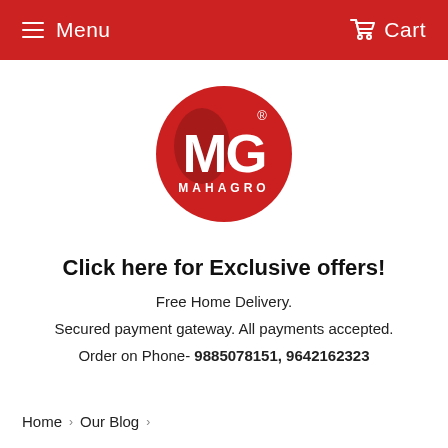Menu   Cart
[Figure (logo): MG Mahagro circular red logo with white MG letters and MAHAGRO text below]
Click here for Exclusive offers!
Free Home Delivery.
Secured payment gateway. All payments accepted.
Order on Phone- 9885078151, 9642162323
Home › Our Blog ›